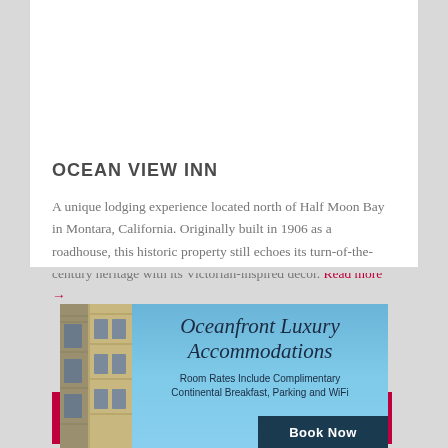OCEAN VIEW INN
A unique lodging experience located north of Half Moon Bay in Montara, California. Originally built in 1906 as a roadhouse, this historic property still echoes its turn-of-the-century heritage with its Victorian-inspired decor. Read more →
SEARCH HALF MOON BAY LODGING
[Figure (infographic): Advertisement for Oceanfront Luxury Accommodations with a building photo on the left and blue sky background on the right. Text reads: Oceanfront Luxury Accommodations. Room Rates Include Complimentary Continental Breakfast, Parking and WiFi. Book Now button at bottom right.]